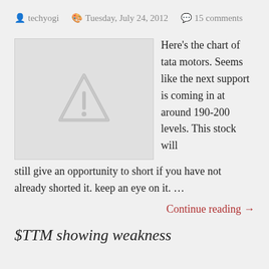techyogi   Tuesday, July 24, 2012   15 comments
[Figure (other): Broken image placeholder with warning triangle and exclamation mark icon, light gray background]
Here's the chart of tata motors. Seems like the next support is coming in at around 190-200 levels. This stock will still give an opportunity to short if you have not already shorted it. keep an eye on it. …
Continue reading →
$TTM showing weakness